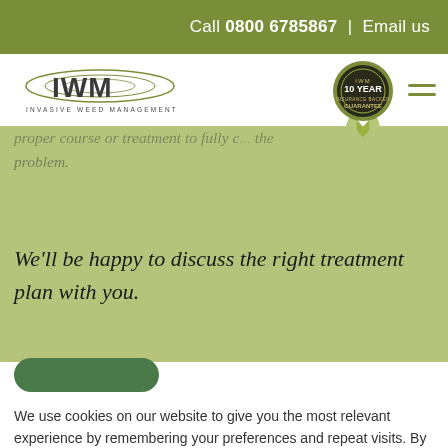Call 0800 6785867 | Email us
[Figure (logo): IWM Invasive Weed Management logo with oval graphic]
[Figure (illustration): IWM 10 Year Insurance Backed Guarantee rosette badge]
your situation. Plants are often hard ... there's not ... it's to live. In most cas ... need ... proper course or treatment to fully c ... the problem.
We'll be happy to discuss the right treatment plan with you.
We use cookies on our website to give you the most relevant experience by remembering your preferences and repeat visits. By clicking "Accept All", you consent to the use of ALL the cookies. However, you may visit "Cookie Settings" to provide a controlled consent.
Cookie Settings
Accept All